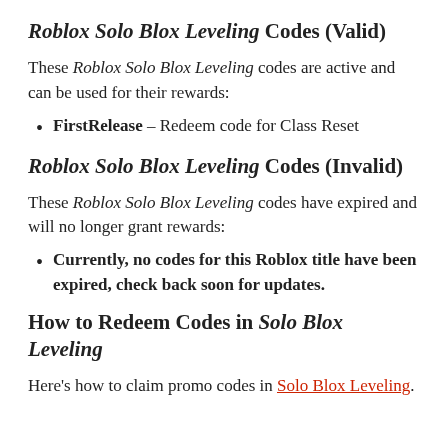Roblox Solo Blox Leveling Codes (Valid)
These Roblox Solo Blox Leveling codes are active and can be used for their rewards:
FirstRelease – Redeem code for Class Reset
Roblox Solo Blox Leveling Codes (Invalid)
These Roblox Solo Blox Leveling codes have expired and will no longer grant rewards:
Currently, no codes for this Roblox title have been expired, check back soon for updates.
How to Redeem Codes in Solo Blox Leveling
Here's how to claim promo codes in Solo Blox Leveling.